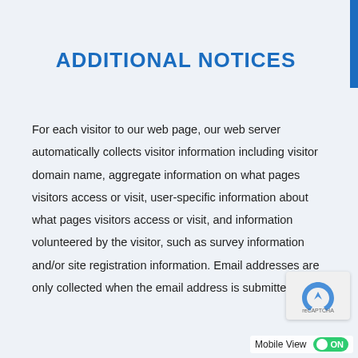ADDITIONAL NOTICES
For each visitor to our web page, our web server automatically collects visitor information including visitor domain name, aggregate information on what pages visitors access or visit, user-specific information about what pages visitors access or visit, and information volunteered by the visitor, such as survey information and/or site registration information. Email addresses are only collected when the email address is submitted thr...